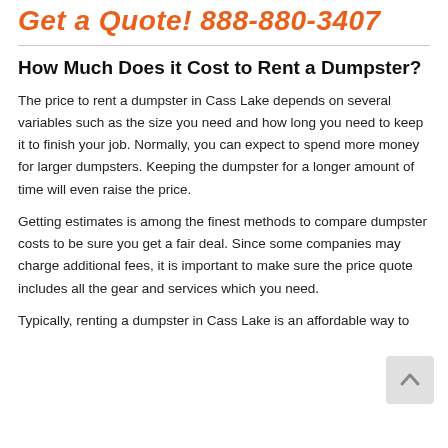Get a Quote! 888-880-3407
How Much Does it Cost to Rent a Dumpster?
The price to rent a dumpster in Cass Lake depends on several variables such as the size you need and how long you need to keep it to finish your job. Normally, you can expect to spend more money for larger dumpsters. Keeping the dumpster for a longer amount of time will even raise the price.
Getting estimates is among the finest methods to compare dumpster costs to be sure you get a fair deal. Since some companies may charge additional fees, it is important to make sure the price quote includes all the gear and services which you need.
Typically, renting a dumpster in Cass Lake is an affordable way to